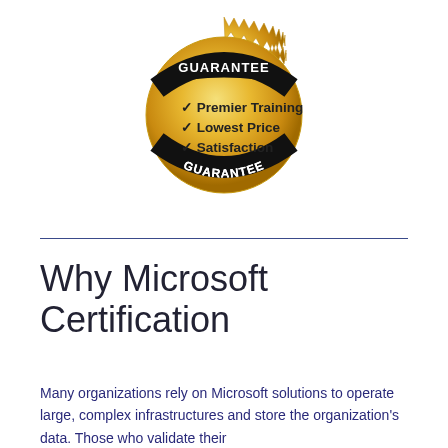[Figure (illustration): Gold guarantee seal badge with 'GUARANTEE' text on black banners at top and bottom, and checkmark bullet list reading: Premier Training, Lowest Price, Satisfaction]
Why Microsoft Certification
Many organizations rely on Microsoft solutions to operate large, complex infrastructures and store the organization's data. Those who validate their